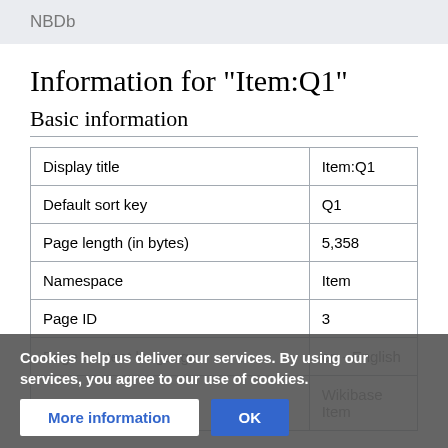NBDb
Information for "Item:Q1"
Basic information
|  |  |
| --- | --- |
| Display title | Item:Q1 |
| Default sort key | Q1 |
| Page length (in bytes) | 5,358 |
| Namespace | Item |
| Page ID | 3 |
| Page content language | en - English |
| Page content | Wikibase Item |
Cookies help us deliver our services. By using our services, you agree to our use of cookies.